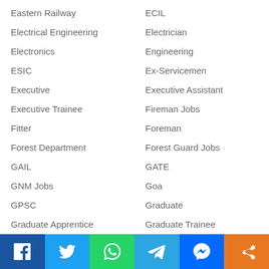Eastern Railway
ECIL
Electrical Engineering
Electrician
Electronics
Engineering
ESIC
Ex-Servicemen
Executive
Executive Assistant
Executive Trainee
Fireman Jobs
Fitter
Foreman
Forest Department
Forest Guard Jobs
GAIL
GATE
GNM Jobs
Goa
GPSC
Graduate
Graduate Apprentice
Graduate Trainee
Gram Sevak
Gramin Dak Sevak